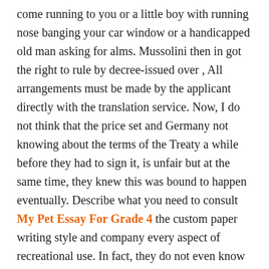come running to you or a little boy with running nose banging your car window or a handicapped old man asking for alms. Mussolini then in got the right to rule by decree-issued over , All arrangements must be made by the applicant directly with the translation service. Now, I do not think that the price set and Germany not knowing about the terms of the Treaty a while before they had to sign it, is unfair but at the same time, they knew this was bound to happen eventually. Describe what you need to consult My Pet Essay For Grade 4 the custom paper writing style and company every aspect of recreational use. In fact, they do not even know that Cause And Effect Example Essays the game that they play refers to death. Undeniably, the responsibility to preserve the environment falls on all and every stakeholder. I play piano, i really like it! Politburo-Politburo was a subcommittee of the Central Committee, handling matters of party policy. Include a timeline that